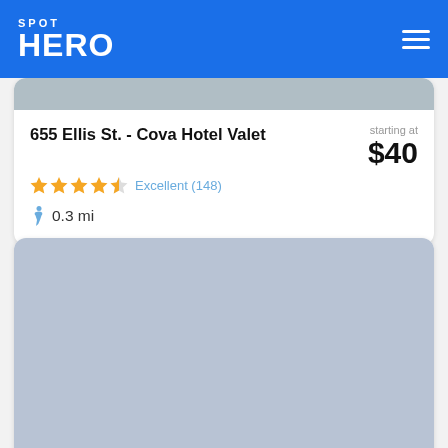SPOT HERO
[Figure (screenshot): Partial parking lot image (top card, cropped)]
655 Ellis St. - Cova Hotel Valet
starting at $40
Excellent (148) — 4.5 stars
0.3 mi
[Figure (screenshot): Parking lot image for 530 Turk St. listing]
530 Turk St. - Self/Valet
starting at $22
Great (601) — 3.5 stars